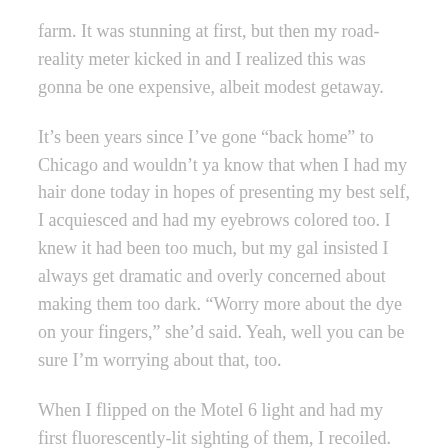farm. It was stunning at first, but then my road-reality meter kicked in and I realized this was gonna be one expensive, albeit modest getaway.
It’s been years since I’ve gone “back home” to Chicago and wouldn’t ya know that when I had my hair done today in hopes of presenting my best self, I acquiesced and had my eyebrows colored too. I knew it had been too much, but my gal insisted I always get dramatic and overly concerned about making them too dark. “Worry more about the dye on your fingers,” she’d said. Yeah, well you can be sure I’m worrying about that, too.
When I flipped on the Motel 6 light and had my first fluorescently-lit sighting of them, I recoiled. Then my heart broke. I would be returning home a female Groucho Marx. Why now? And things had been going better than well up until that moment in the chair. Ah well. First world problems